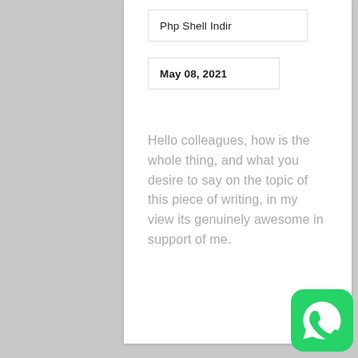Php Shell Indir
May 08, 2021
Hello colleagues, how is the whole thing, and what you desire to say on the topic of this piece of writing, in my view its genuinely awesome in support of me.
[Figure (logo): WhatsApp logo icon — green rounded square with white speech bubble phone icon]